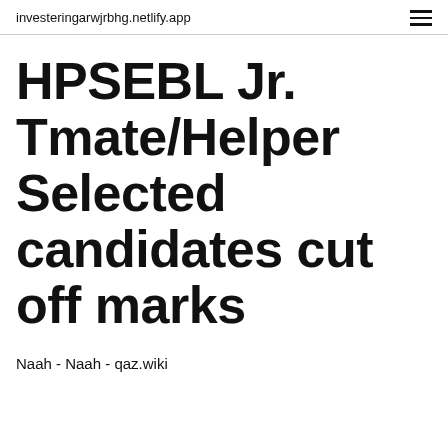investeringarwjrbhg.netlify.app
HPSEBL Jr. Tmate/Helper Selected candidates cut off marks
Naah - Naah - qaz.wiki